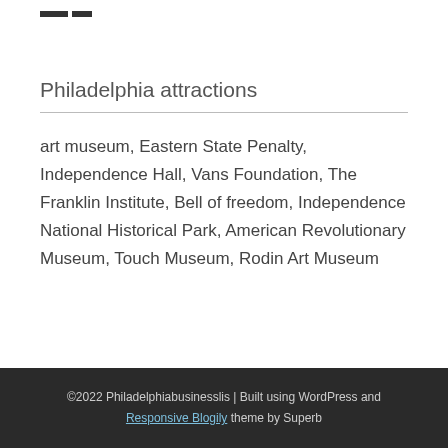Philadelphia attractions
art museum, Eastern State Penalty, Independence Hall, Vans Foundation, The Franklin Institute, Bell of freedom, Independence National Historical Park, American Revolutionary Museum, Touch Museum, Rodin Art Museum
©2022 Philadelphiabusinesslis | Built using WordPress and Responsive Blogily theme by Superb